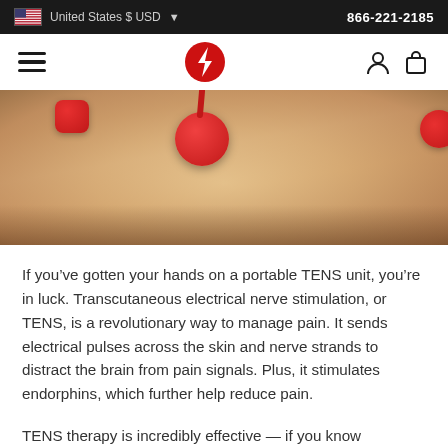United States $ USD  866-221-2185
[Figure (photo): Close-up photo of a person's arm with red TENS electrode pads attached to the skin, with red wires connected]
If you've gotten your hands on a portable TENS unit, you're in luck. Transcutaneous electrical nerve stimulation, or TENS, is a revolutionary way to manage pain. It sends electrical pulses across the skin and nerve strands to distract the brain from pain signals. Plus, it stimulates endorphins, which further help reduce pain.
TENS therapy is incredibly effective — if you know